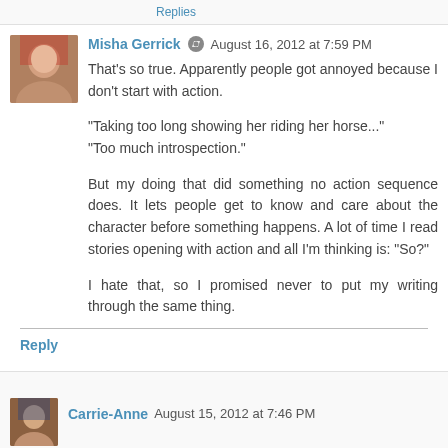Replies
Misha Gerrick  August 16, 2012 at 7:59 PM
That's so true. Apparently people got annoyed because I don't start with action.

"Taking too long showing her riding her horse..." "Too much introspection."

But my doing that did something no action sequence does. It lets people get to know and care about the character before something happens. A lot of time I read stories opening with action and all I'm thinking is: "So?"

I hate that, so I promised never to put my writing through the same thing.
Reply
Carrie-Anne  August 15, 2012 at 7:46 PM